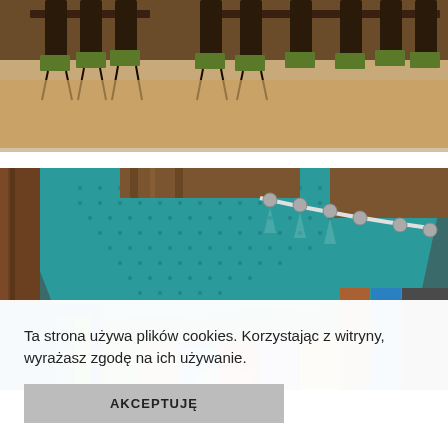[Figure (photo): Interior photo showing dark wooden chairs with green seat cushions around tables, warm beige floor, top portion of a restaurant or cafe interior.]
[Figure (photo): Interior photo of a colorful venue with a teal/turquoise textured ceiling panel, track lighting on a curved rail, and multicolored vertical panels (green, blue, teal, orange, brown) on the walls.]
Ta strona używa plików cookies. Korzystając z witryny, wyrażasz zgodę na ich używanie.
AKCEPTUJĘ